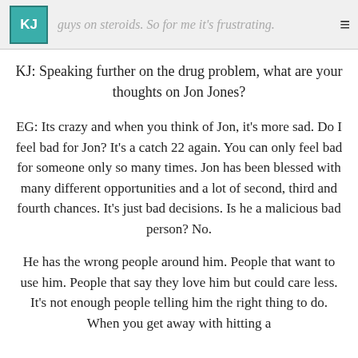KJ | guys on steroids. So for me it's frustrating.
KJ: Speaking further on the drug problem, what are your thoughts on Jon Jones?
EG: Its crazy and when you think of Jon, it's more sad. Do I feel bad for Jon? It's a catch 22 again. You can only feel bad for someone only so many times. Jon has been blessed with many different opportunities and a lot of second, third and fourth chances. It's just bad decisions. Is he a malicious bad person? No.
He has the wrong people around him. People that want to use him. People that say they love him but could care less. It's not enough people telling him the right thing to do. When you get away with hitting a